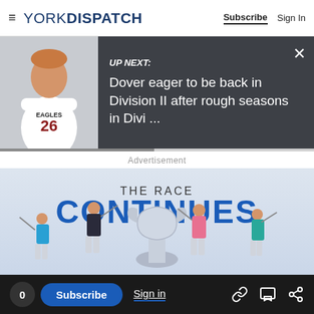YORK DISPATCH — Subscribe | Sign In
[Figure (screenshot): 'Up Next' banner with athlete photo (football player wearing Eagles #26 jersey) and text 'UP NEXT: Dover eager to be back in Division II after rough seasons in Divi ...' on dark background]
Advertisement
[Figure (photo): Golf advertisement banner showing 'THE RACE CONTINUES' text with four golfers mid-swing around a large trophy]
0  Subscribe  Sign in